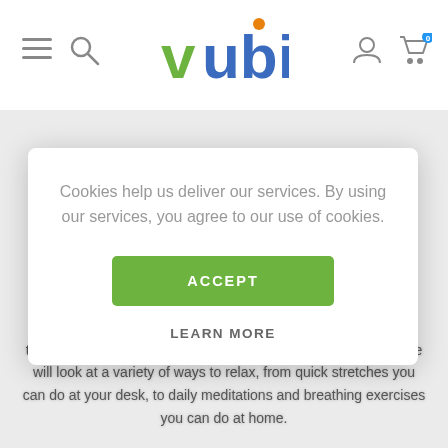[Figure (logo): Vubiz logo with green 'v', blue 'ubiz', orange dot above 'i']
Cookies help us deliver our services. By using our services, you agree to our use of cookies.
ACCEPT
LEARN MORE
strategies for relaxing and refresh tried and true relaxation techniques that you can start practicing today. In this course, we will look at a variety of ways to relax, from quick stretches you can do at your desk, to daily meditations and breathing exercises you can do at home.